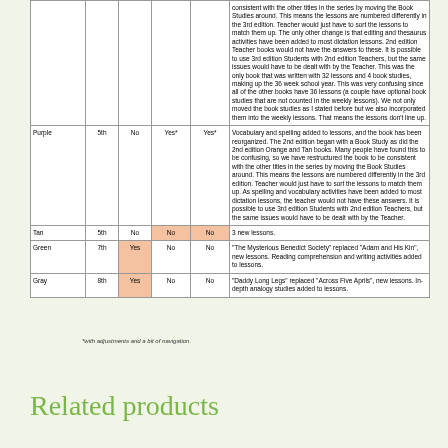|  | Grade | New Book | Student Compatible | Teacher Compatible | Notes |
| --- | --- | --- | --- | --- | --- |
|  |  |  |  |  | consistent with the other titles in the series by moving the Book Studies around. This means the lessons are numbered differently in the 3rd edition. Teacher would just have to sort the lessons to match them up. The only other change is that editing and thesaurus activities have been added to most dictation lessons. 2nd edition Teacher books would not have the answers to these. It is possible to use 3rd edition Students with 2nd edition Teachers, but the same issues would have to be dealt with by the Teacher. This was the only book that was written with 32 lessons and 4 book studies, making up the 36 week school year. This was very confusing since all of the other books have 36 lessons (a couple have optional book studies that are not counted in the weekly lessons). We not only moved the book studies as I stated before but we also incorporated them into the weekly lessons. That means the lessons don't line up. |
| Purple | 5th | No | Yes* | Yes* | Vocabulary and spelling added to lessons, and the book has been reorganized. The 2nd edition began with a Book Study as did the 2nd edition Orange and Tan books. Many people have found this to be confusing, so we have restructured the book to be consistent with the other titles in the series by moving the Book Studies around. This means the lessons are numbered differently in the 3rd edition. Teacher would just have to sort the lessons to match them up. As spelling and vocabulary activities have been added to most dictation lessons, the teacher would not have these answers. It is possible to use 3rd edition Students with 2nd edition Teachers, but the same issues would have to be dealt with by the Teacher. |
| Tan | 5th | No | No | No | 3 new lessons. |
| Green | 7th | Yes | No | No | "The Mysterious Benedict Society" replaced "Adam and His Kin", new lessons. Reading comprehension and writing activities added to lessons. |
| Gray | 8th | Yes | No | No | "Daddy Long Legs" replaced "Across Five Aprils", new lessons. In-depth analogy studies added to lessons. |
*with adjustments and a bit of navigation.
Related products